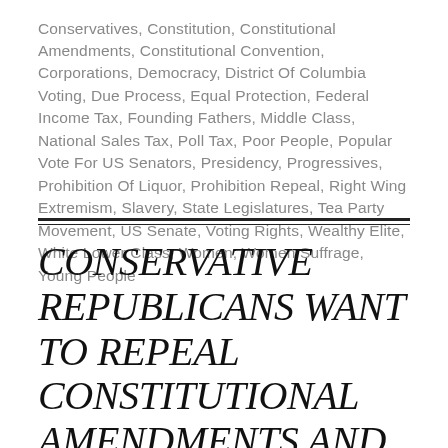Conservatives, Constitution, Constitutional Amendments, Constitutional Convention, Corporations, Democracy, District Of Columbia Voting, Due Process, Equal Protection, Federal Income Tax, Founding Fathers, Middle Class, National Sales Tax, Poll Tax, Poor People, Popular Vote For US Senators, Presidency, Progressives, Prohibition Of Liquor, Prohibition Repeal, Right Wing Extremism, Slavery, State Legislatures, Tea Party Movement, US Senate, Voting Rights, Wealthy Elite, White Lower Class, Women, Women Suffrage, Young People
CONSERVATIVE REPUBLICANS WANT TO REPEAL CONSTITUTIONAL AMENDMENTS AND 20TH CENTURY REFORMS THAT